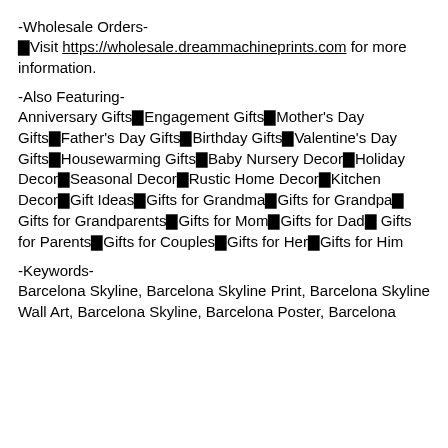-Wholesale Orders-
⬛Visit https://wholesale.dreammachineprints.com for more information.
-Also Featuring-
Anniversary Gifts⬛Engagement Gifts⬛Mother's Day Gifts⬛Father's Day Gifts⬛Birthday Gifts⬛Valentine's Day Gifts⬛Housewarming Gifts⬛Baby Nursery Decor⬛Holiday Decor⬛Seasonal Decor⬛Rustic Home Decor⬛Kitchen Decor⬛Gift Ideas⬛Gifts for Grandma⬛Gifts for Grandpa⬛Gifts for Grandparents⬛Gifts for Mom⬛Gifts for Dad⬛Gifts for Parents⬛Gifts for Couples⬛Gifts for Her⬛Gifts for Him
-Keywords-
Barcelona Skyline, Barcelona Skyline Print, Barcelona Skyline Wall Art, Barcelona Skyline, Barcelona Poster, Barcelona...